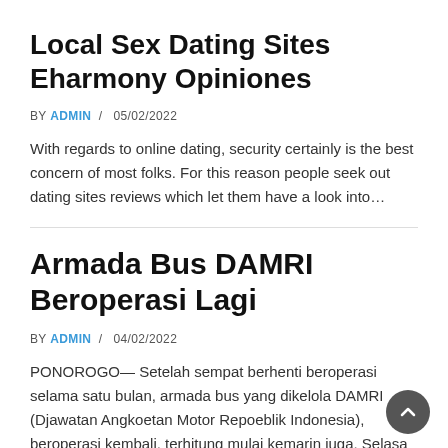Local Sex Dating Sites Eharmony Opiniones
BY ADMIN / 05/02/2022
With regards to online dating, security certainly is the best concern of most folks. For this reason people seek out dating sites reviews which let them have a look into…
Armada Bus DAMRI Beroperasi Lagi
BY ADMIN / 04/02/2022
PONOROGO— Setelah sempat berhenti beroperasi selama satu bulan, armada bus yang dikelola DAMRI (Djawatan Angkoetan Motor Repoeblik Indonesia), beroperasi kembali, terhitung mulai kemarin juga, Selasa lalu. Armada bus DAMRI Cabang